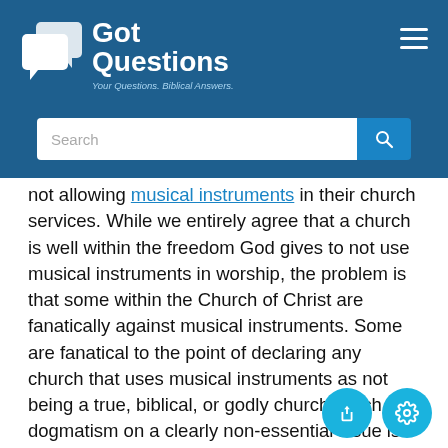GotQuestions — Your Questions. Biblical Answers.
not allowing musical instruments in their church services. While we entirely agree that a church is well within the freedom God gives to not use musical instruments in worship, the problem is that some within the Church of Christ are fanatically against musical instruments. Some are fanatical to the point of declaring any church that uses musical instruments as not being a true, biblical, or godly church. Such dogmatism on a clearly non-essential issue is often the mark of a cult, not the mark of a good biblical church.